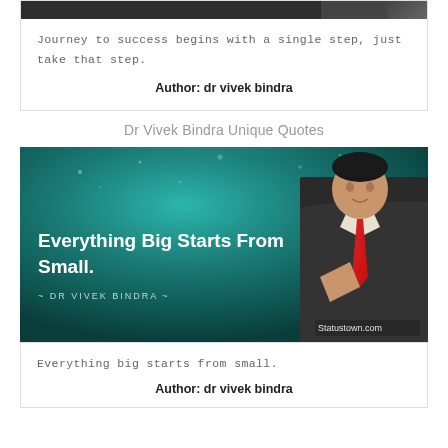[Figure (photo): Top portion of a quote card with a person photo cropped at top, dark image strip]
Journey to success begins with a single step, just take that step.
Author: dr vivek bindra
Dr Vivek Bindra Unique Quotes
[Figure (illustration): Motivational quote graphic with teal/dark green ocean background showing bubbles, bold white text reading 'Everything Big Starts From Small.' with attribution '~ DR VIVEK BINDRA ~', person in suit with red tie on right side, watermark 'Statustown.com']
Everything big starts from small.
Author: dr vivek bindra